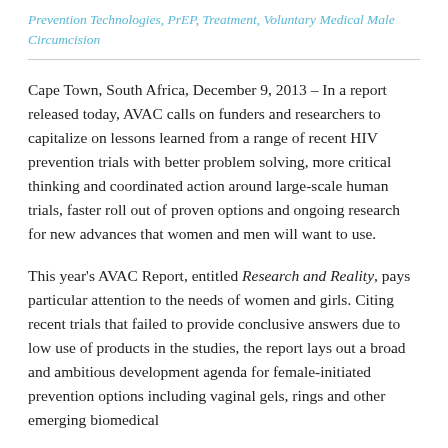Prevention Technologies, PrEP, Treatment, Voluntary Medical Male Circumcision
Cape Town, South Africa, December 9, 2013 – In a report released today, AVAC calls on funders and researchers to capitalize on lessons learned from a range of recent HIV prevention trials with better problem solving, more critical thinking and coordinated action around large-scale human trials, faster roll out of proven options and ongoing research for new advances that women and men will want to use.
This year's AVAC Report, entitled Research and Reality, pays particular attention to the needs of women and girls. Citing recent trials that failed to provide conclusive answers due to low use of products in the studies, the report lays out a broad and ambitious development agenda for female-initiated prevention options including vaginal gels, rings and other emerging biomedical strategies.